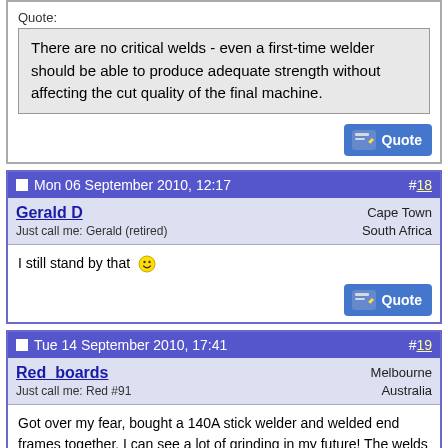Quote: There are no critical welds - even a first-time welder should be able to produce adequate strength without affecting the cut quality of the final machine.
Mon 06 September 2010, 12:17  #18
Gerald D
Just call me: Gerald (retired)
Cape Town South Africa
I still stand by that :)
Tue 14 September 2010, 17:41  #19
Red_boards
Just call me: Red #91
Melbourne Australia
Got over my fear, bought a 140A stick welder and welded end frames together. I can see a lot of grinding in my future! The welds seem strong enough (I can jump up and down on them).

The new masks make welding a LOT easier than I remembered it from 20 years ago. You can see what you are doing and then the glass darkens up as the arc gets thrown.